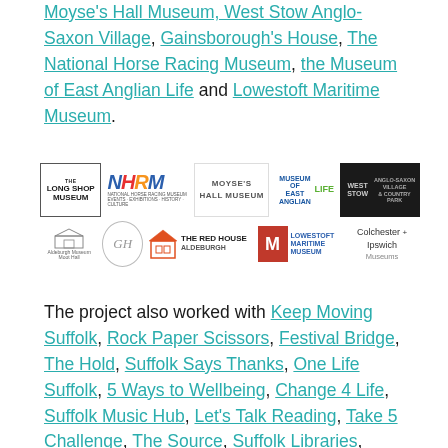Moyse's Hall Museum, West Stow Anglo-Saxon Village, Gainsborough's House, The National Horse Racing Museum, the Museum of East Anglian Life and Lowestoft Maritime Museum.
[Figure (logo): Collection of museum logos: The Long Shop Museum, NHRM (National Horse Racing Museum), Moyse's Hall Museum, Museum of East Anglian Life, West Stow Anglo-Saxon Village & Country Park, Aldeburgh Museum / Moot Hall, Gainsborough's House (GH), The Red House Aldeburgh, Lowestoft Maritime Museum, Colchester + Ipswich Museums]
The project also worked with Keep Moving Suffolk, Rock Paper Scissors, Festival Bridge, The Hold, Suffolk Says Thanks, One Life Suffolk, 5 Ways to Wellbeing, Change 4 Life, Suffolk Music Hub, Let's Talk Reading, Take 5 Challenge, The Source, Suffolk Libraries, Suffolk Children's University and the Suffolk Community Foundation